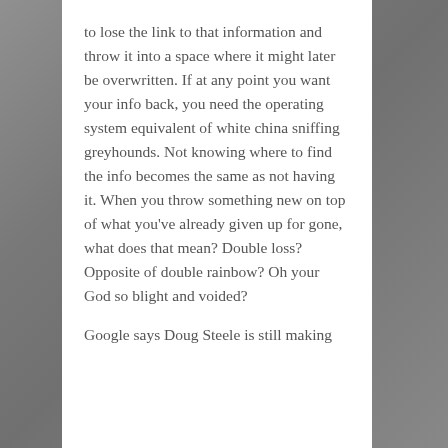to lose the link to that information and throw it into a space where it might later be overwritten. If at any point you want your info back, you need the operating system equivalent of white china sniffing greyhounds. Not knowing where to find the info becomes the same as not having it. When you throw something new on top of what you've already given up for gone, what does that mean? Double loss? Opposite of double rainbow? Oh your God so blight and voided?
Google says Doug Steele is still making